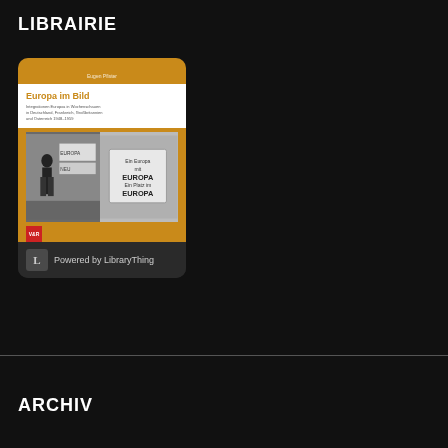LIBRAIRIE
[Figure (illustration): Book widget showing cover of 'Europa im Bild' by Eugen Pfister with LibraryThing powered footer. Book cover is orange/golden with title in white section and black-and-white photo collage showing European signs.]
ARCHIV